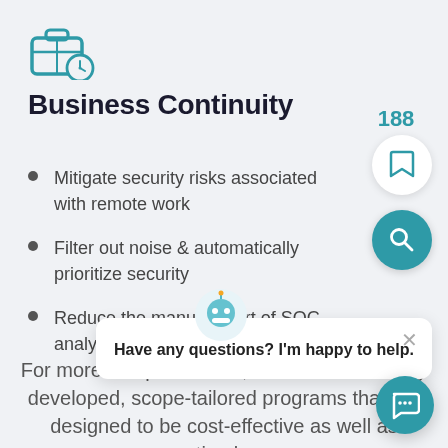[Figure (illustration): Teal icon of a briefcase with a clock/timer, representing business continuity]
Business Continuity
Mitigate security risks associated with remote work
Filter out noise & automatically prioritize security
Reduce the manual effort of SOC analysts
For more complex needs, we offer individually developed, scope-tailored programs that are designed to be cost-effective as well as timely.
[Figure (other): Chatbot popup with avatar icon, close button, and text: Have any questions? I'm happy to help.]